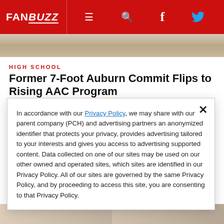FANBUZZ — navigation bar with hamburger menu, search, Facebook, Twitter icons
[Figure (photo): Partial top image strip, appears to show a mascot or costumed figure]
HIGH SCHOOL
Former 7-Foot Auburn Commit Flips to Rising AAC Program
Joe Grobeck, Staff Writer 5:14pm, July 16
Sage Tolentino is leaving home and going halfway a... h...
In accordance with our Privacy Policy, we may share with our parent company (PCH) and advertising partners an anonymized identifier that protects your privacy, provides advertising tailored to your interests and gives you access to advertising supported content. Data collected on one of our sites may be used on our other owned and operated sites, which sites are identified in our Privacy Policy. All of our sites are governed by the same Privacy Policy, and by proceeding to access this site, you are consenting to that Privacy Policy.
[Figure (photo): Bottom image strip showing partial photos]